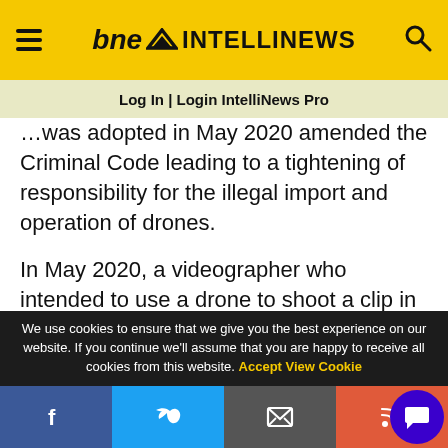bne INTELLINEWS
Log In | Login IntelliNews Pro
…was adopted in May 2020 amended the Criminal Code leading to a tightening of responsibility for the illegal import and operation of drones.
In May 2020, a videographer who intended to use a drone to shoot a clip in Andijan was prosecuted and received a probationary sentence.
Read in IntelliNews Pro
We use cookies to ensure that we give you the best experience on our website. If you continue we'll assume that you are happy to receive all cookies from this website. Accept  View Cookie